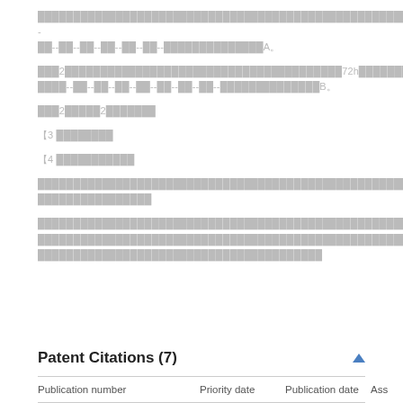████████████████████████████████████████████████████--██--██--██--██--██--██--██████████████A。
███2███████████████████████████████████████72h██████████████--██--██--██--██--██--██--██--██████████████B。
███2█████2███████
【3 ████████
【4 ███████████
██████████████████████████████████████████████████████████████████████████████████████
████████████████████████████████████████████████████████████████████████████████████████████████████████████████████████████████████████████████████████████████████████████████████████
Patent Citations (7)
| Publication number | Priority date | Publication date | Ass |
| --- | --- | --- | --- |